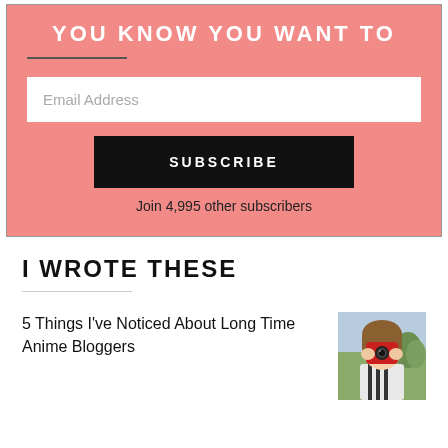YOU KNOW YOU WANT TO
Email Address
SUBSCRIBE
Join 4,995 other subscribers
I WROTE THESE
5 Things I've Noticed About Long Time Anime Bloggers
[Figure (photo): Thumbnail image of an anime character holding something red in front of their face, outdoors setting]